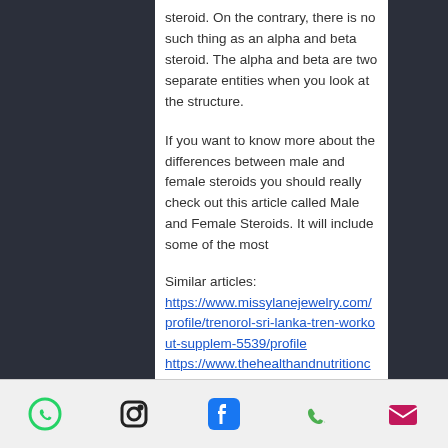steroid. On the contrary, there is no such thing as an alpha and beta steroid. The alpha and beta are two separate entities when you look at the structure.
If you want to know more about the differences between male and female steroids you should really check out this article called Male and Female Steroids. It will include some of the most
Similar articles:
https://www.missylanejewelry.com/profile/trenorol-sri-lanka-tren-workout-supplem-5539/profile
https://www.thehealthandnutritioncoach.com/profile/clenbuterol-for-sale-